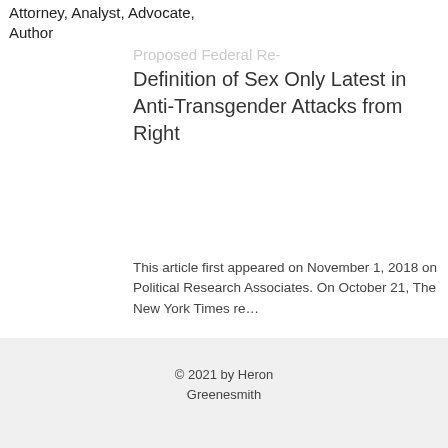Attorney, Analyst, Advocate, Author
Proposed Federal Re-Definition of Sex Only Latest in Anti-Transgender Attacks from Right
This article first appeared on November 1, 2018 on Political Research Associates. On October 21, The New York Times re...
1/2
© 2021 by Heron Greenesmith